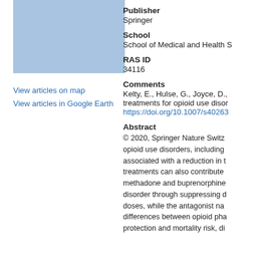[Figure (map): Blue rectangle representing a map placeholder showing article locations]
View articles on map
View articles in Google Earth
Publisher
Springer
School
School of Medical and Health S
RAS ID
34116
Comments
Kelty, E., Hulse, G., Joyce, D.,
treatments for opioid use disor
https://doi.org/10.1007/s40263
Abstract
© 2020, Springer Nature Switz opioid use disorders, including associated with a reduction in t treatments can also contribute methadone and buprenorphine disorder through suppressing o doses, while the antagonist na differences between opioid pha protection and mortality risk, di